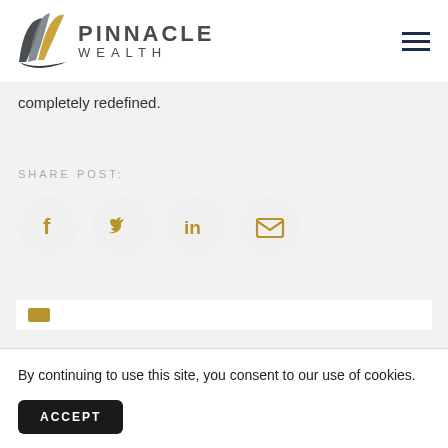[Figure (logo): Pinnacle Wealth logo with stylized overlapping leaf/wing shapes in dark grey, grey, and gold, with 'PINNACLE WEALTH' text in dark charcoal]
completely redefined.
SHARE POST:
[Figure (infographic): Four circular social sharing icons in gold on light grey circles: Facebook (f), Twitter (bird), LinkedIn (in), Email (envelope)]
By continuing to use this site, you consent to our use of cookies.
ACCEPT